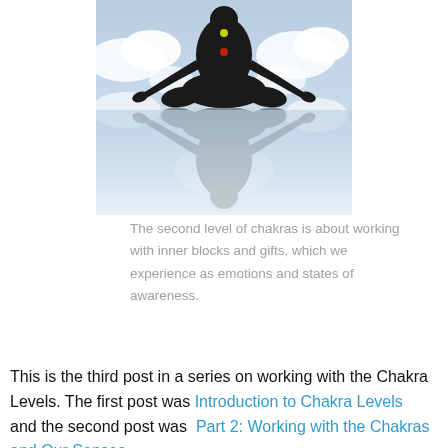[Figure (illustration): A silhouette of a meditating figure in lotus position with colorful chakra dots (yellow and red visible) shown against a cloudy sky background, reflected below as a mirror image fading into light blue.]
The second level of chakras is about working with inner blocks and gifts, which we experience as emotions and states of awareness.
This is the third post in a series on working with the Chakra Levels. The first post was Introduction to Chakra Levels and the second post was Part 2: Working with the Chakras and Our Senses .